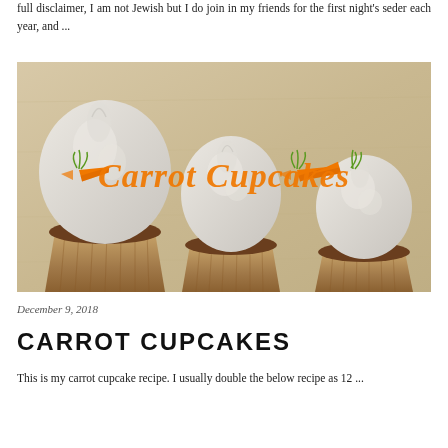full disclaimer, I am not Jewish but I do join in my friends for the first night's seder each year, and ...
[Figure (photo): Three carrot cupcakes with cream cheese frosting on a wooden surface, with orange cursive text overlay reading 'Carrot Cupcakes' flanked by carrot illustrations]
December 9, 2018
CARROT CUPCAKES
This is my carrot cupcake recipe. I usually double the below recipe as 12 ...